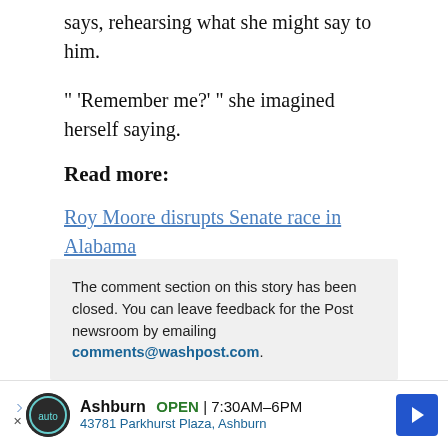says, rehearsing what she might say to him.
“ ‘Remember me?’ ” she imagined herself saying.
Read more:
Roy Moore disrupts Senate race in Alabama
A short history of Roy Moore’s controversial interpretations of the Bible.
Roy Moore tried to fit in with Senate Republicans for a day.
The comment section on this story has been closed. You can leave feedback for the Post newsroom by emailing comments@washpost.com.
[Figure (infographic): Advertisement bar: Avondale auto dealer, Ashburn OPEN 7:30AM-6PM, 43781 Parkhurst Plaza, Ashburn, with navigation arrow icon]